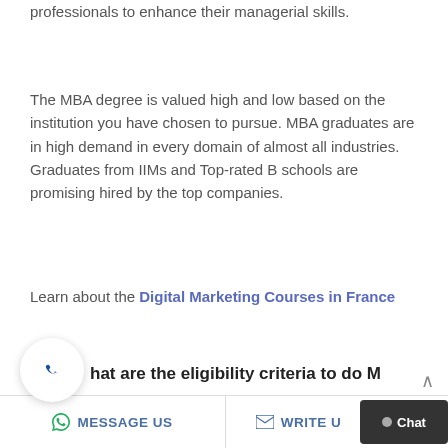professionals to enhance their managerial skills.
The MBA degree is valued high and low based on the institution you have chosen to pursue. MBA graduates are in high demand in every domain of almost all industries. Graduates from IIMs and Top-rated B schools are promising hired by the top companies.
Learn about the Digital Marketing Courses in France
hat are the eligibility criteria to do M
MESSAGE US   WRITE U   Chat